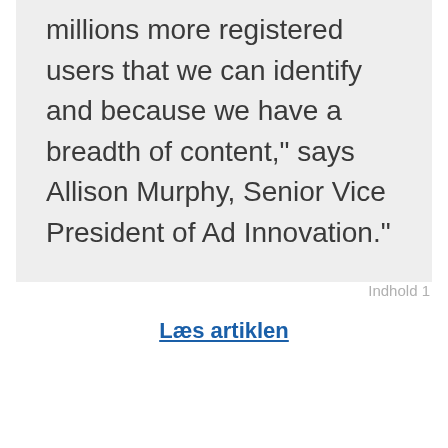millions more registered users that we can identify and because we have a breadth of content," says Allison Murphy, Senior Vice President of Ad Innovation."
Læs artiklen
Indhold 1